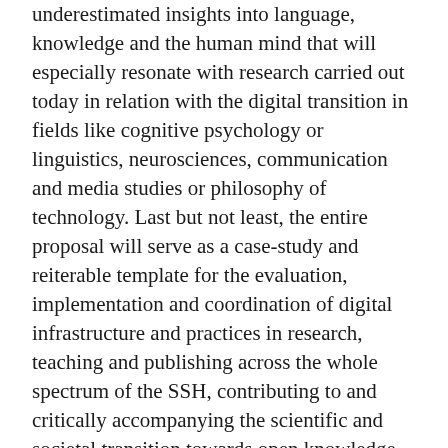underestimated insights into language, knowledge and the human mind that will especially resonate with research carried out today in relation with the digital transition in fields like cognitive psychology or linguistics, neurosciences, communication and media studies or philosophy of technology. Last but not least, the entire proposal will serve as a case-study and reiterable template for the evaluation, implementation and coordination of digital infrastructure and practices in research, teaching and publishing across the whole spectrum of the SSH, contributing to and critically accompanying the scientific and societal transition towards open knowledge.
DIGITAL-PRAGUE will achieve its aims by:
1. uniting a broad community of world-class academic, technical and institutional stakeholders around a shared, participative, repurposable and open source web platform explicitly dedicated to coordinating a major international